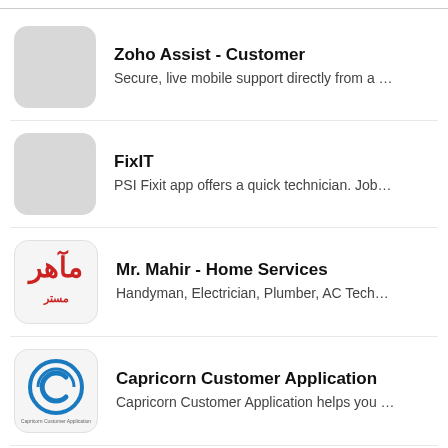Zoho Assist - Customer
Secure, live mobile support directly from a …
FixIT
PSI Fixit app offers a quick technician. Job…
Mr. Mahir - Home Services
Handyman, Electrician, Plumber, AC Tech…
Capricorn Customer Application
Capricorn Customer Application helps you …
Rescue + Mobile for Android